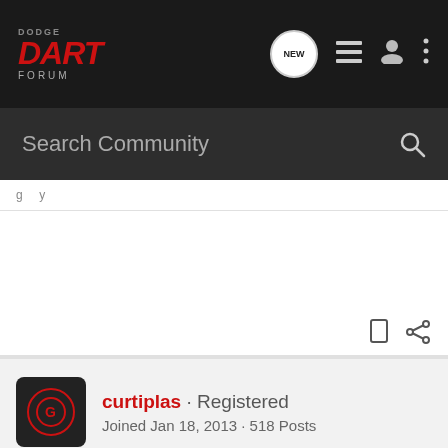DODGE DART FORUM
Search Community
curtiplas · Registered
Joined Jan 18, 2013 · 518 Posts
Discussion Starter · #5 · Jun 10, 2013